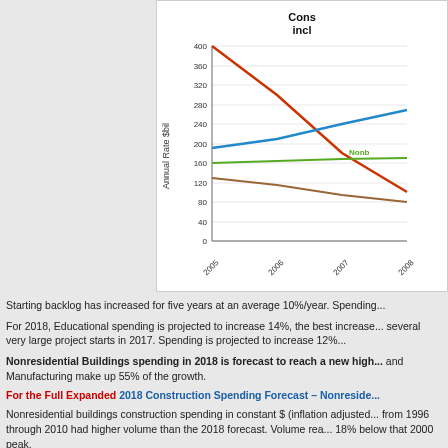[Figure (line-chart): Construction Spending incl...]
Starting backlog has increased for five years at an average 10%/year. Spending...
For 2018, Educational spending is projected to increase 14%, the best increase... several very large project starts in 2017. Spending is projected to increase 12%...
Nonresidential Buildings spending in 2018 is forecast to reach a new high... and Manufacturing make up 55% of the growth.
For the Full Expanded 2018 Construction Spending Forecast – Nonreside...
Nonresidential buildings construction spending in constant $ (inflation adjusted... from 1996 through 2010 had higher volume than the 2018 forecast. Volume rea... 18% below that 2000 peak.